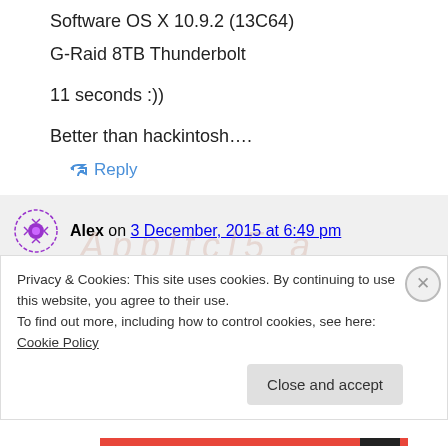Software OS X 10.9.2 (13C64)
G-Raid 8TB Thunderbolt
11 seconds :))
Better than hackintosh….
↳ Reply
Alex on 3 December, 2015 at 6:49 pm
really better?)
Privacy & Cookies: This site uses cookies. By continuing to use this website, you agree to their use.
To find out more, including how to control cookies, see here: Cookie Policy
Close and accept